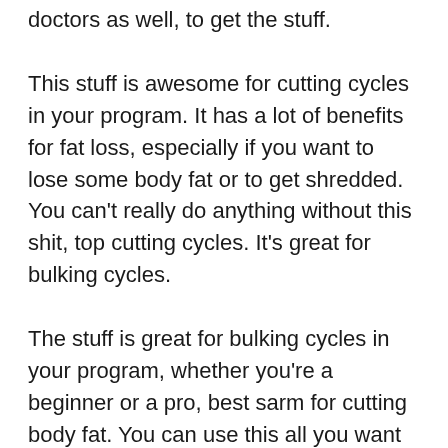doctors as well, to get the stuff.
This stuff is awesome for cutting cycles in your program. It has a lot of benefits for fat loss, especially if you want to lose some body fat or to get shredded. You can't really do anything without this shit, top cutting cycles. It's great for bulking cycles.
The stuff is great for bulking cycles in your program, whether you're a beginner or a pro, best sarm for cutting body fat. You can use this all you want for bulking and for muscle gain, so you won't get an imbalance. It's great for cutting cycles, too, how to lose weight after chemo steroids. It can help you cut a good amount of fat to build muscle faster than with more typical steroids, cutting cycles top. I recommend you use a good product for this stuff. I nd that most of the sale